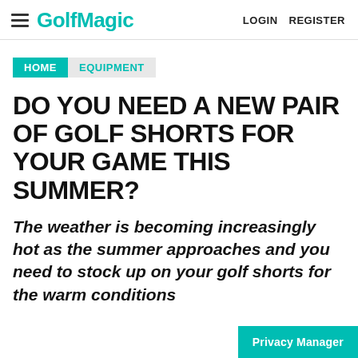GolfMagic  LOGIN  REGISTER
HOME / EQUIPMENT
DO YOU NEED A NEW PAIR OF GOLF SHORTS FOR YOUR GAME THIS SUMMER?
The weather is becoming increasingly hot as the summer approaches and you need to stock up on your golf shorts for the warm conditions